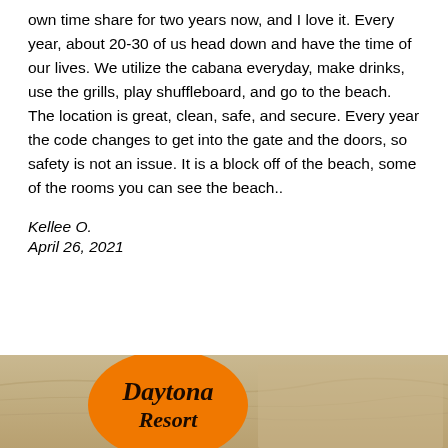own time share for two years now, and I love it. Every year, about 20-30 of us head down and have the time of our lives. We utilize the cabana everyday, make drinks, use the grills, play shuffleboard, and go to the beach. The location is great, clean, safe, and secure. Every year the code changes to get into the gate and the doors, so safety is not an issue. It is a block off of the beach, some of the rooms you can see the beach..
Kellee O.
April 26, 2021
[Figure (photo): Sandy beach background with Daytona Resort logo (orange circle with italic text 'Daytona Resort') in the lower portion of the image]